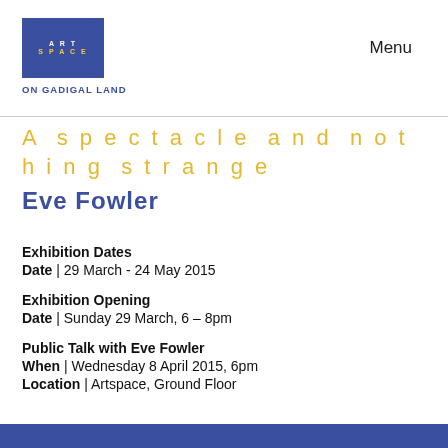[Figure (logo): Artspace logo: blue rectangle with 'ART SPACE' text in white/yellow, with 'ON GADIGAL LAND' subtitle in blue below]
Menu
A spectacle and nothing strange
Eve Fowler
Exhibition Dates
Date | 29 March - 24 May 2015
Exhibition Opening
Date | Sunday 29 March, 6 – 8pm
Public Talk with Eve Fowler
When | Wednesday 8 April 2015, 6pm
Location | Artspace, Ground Floor